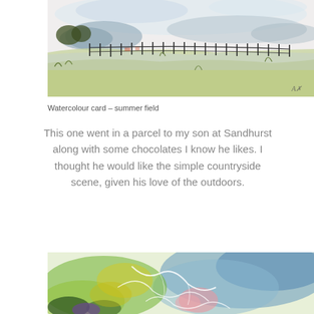[Figure (illustration): Watercolour painting of a summer field landscape with hills, fence line, trees, and green meadow in muted blues and greens]
Watercolour card – summer field
This one went in a parcel to my son at Sandhurst along with some chocolates I know he likes. I thought he would like the simple countryside scene, given his love of the outdoors.
[Figure (illustration): Watercolour painting with abstract floral or leaf forms in blue, green, yellow and pink washes with white line details]